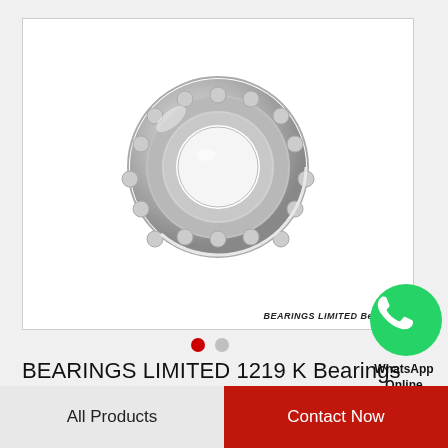[Figure (photo): A cylindrical roller bearing (BEARINGS LIMITED 1219 K) shown from the front, silver/chrome colored, with visible rolling elements and inner/outer races. White background with thin border. Watermark text 'BEARINGS LIMITED Bearings' at bottom right of image.]
BEARINGS LIMITED 1219 K Bearings
[Figure (logo): WhatsApp green speech bubble with phone handset icon, with text 'WhatsApp Online' below it.]
All Products
Contact Now